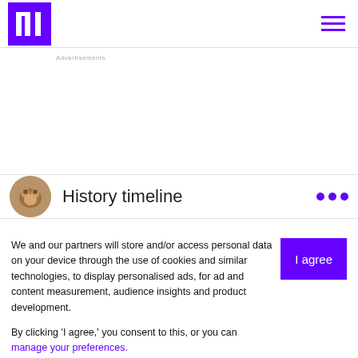FIF [logo] | hamburger menu
Advertisements
History timeline
We and our partners will store and/or access personal data on your device through the use of cookies and similar technologies, to display personalised ads, for ad and content measurement, audience insights and product development.

By clicking 'I agree,' you consent to this, or you can manage your preferences.